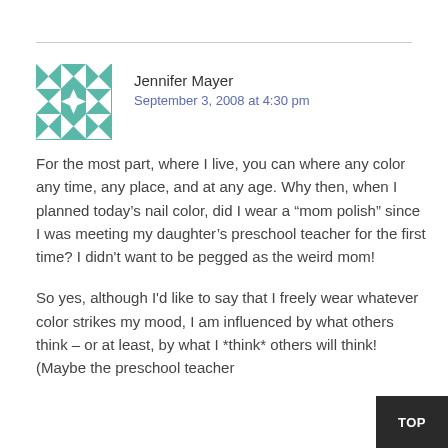[Figure (illustration): Teal and white quilt-pattern avatar icon for Jennifer Mayer]
Jennifer Mayer
September 3, 2008 at 4:30 pm
For the most part, where I live, you can where any color any time, any place, and at any age. Why then, when I planned today's nail color, did I wear a “mom polish” since I was meeting my daughter’s preschool teacher for the first time? I didn't want to be pegged as the weird mom!
So yes, although I'd like to say that I freely wear whatever color strikes my mood, I am influenced by what others think – or at least, by what I *think* others will think! (Maybe the preschool teacher